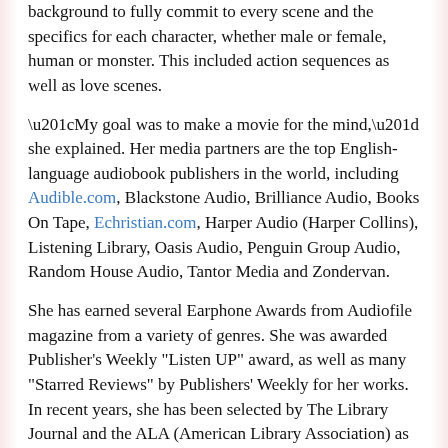background to fully commit to every scene and the specifics for each character, whether male or female, human or monster.  This included action sequences as well as love scenes.
“My goal was to make a movie for the mind,” she explained. Her media partners are the top English-language audiobook publishers in the world, including Audible.com, Blackstone Audio, Brilliance Audio, Books On Tape, Echristian.com, Harper Audio (Harper Collins), Listening Library, Oasis Audio, Penguin Group Audio, Random House Audio, Tantor Media and Zondervan.
She has earned several Earphone Awards from Audiofile magazine from a variety of genres.  She was awarded Publisher's Weekly "Listen UP" award, as well as many "Starred Reviews" by Publishers' Weekly for her works. In recent years, she has been selected by The Library Journal and the ALA (American Library Association) as having narrated one of their top audiobooks for the year. Nominated for several Audie Awards (the audiobook's version of the Academy Award), she was nominated in the same category with Oscar-winning actor Johnny Depp. She has taught both acting and audiobook narration and directed celebrity clients in audiobooks, including Lisa Kudrow and Kevin Sorbo.